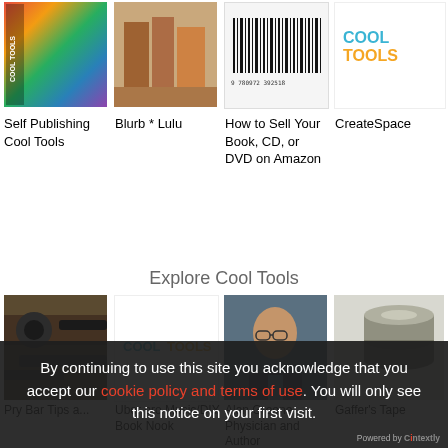[Figure (screenshot): Grid of 4 product thumbnails: colorful book cover, store photo, barcode image, CoolTools logo text]
Self Publishing Cool Tools
Blurb * Lulu
How to Sell Your Book, CD, or DVD on Amazon
CreateSpace
Explore Cool Tools
[Figure (screenshot): Grid of 4 thumbnails: pry bar tool photo, CoolTools logo, Alan Greene photo, gaffer tape rolls]
Pry Bar Tips a...
Uber pro Music/DIY Book Nook
Alan Greene, Physician and Author
Gaffer's Tape
By continuing to use this site you acknowledge that you accept our cookie policy and terms of use. You will only see this notice on your first visit.